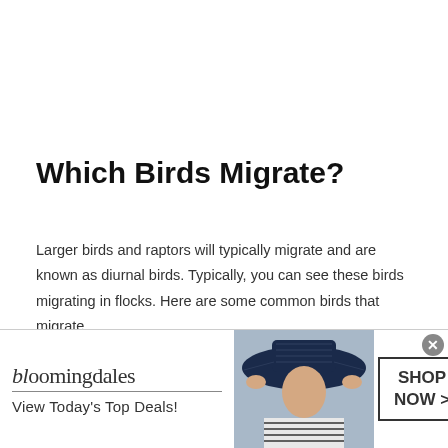Which Birds Migrate?
Larger birds and raptors will typically migrate and are known as diurnal birds. Typically, you can see these birds migrating in flocks. Here are some common birds that migrate.
Jays
Crows
Swallows
[Figure (infographic): Bloomingdale's advertisement banner with model wearing a wide-brim hat, logo, tagline 'View Today's Top Deals!' and a 'SHOP NOW >' button]